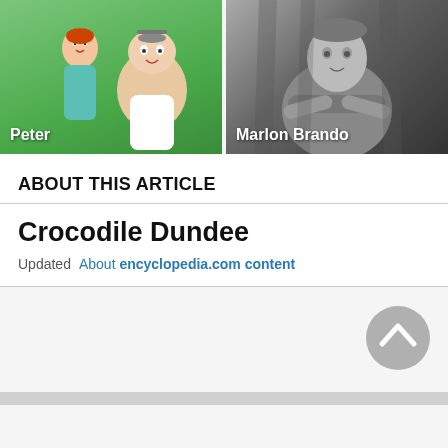[Figure (photo): Two side-by-side image cards. Left card shows animated cartoon characters Peter and Lois Griffin from Family Guy on a green background, labeled 'Peter'. Right card shows a black-and-white photo of Marlon Brando with arms crossed, labeled 'Marlon Brando'.]
ABOUT THIS ARTICLE
Crocodile Dundee
Updated   About encyclopedia.com content